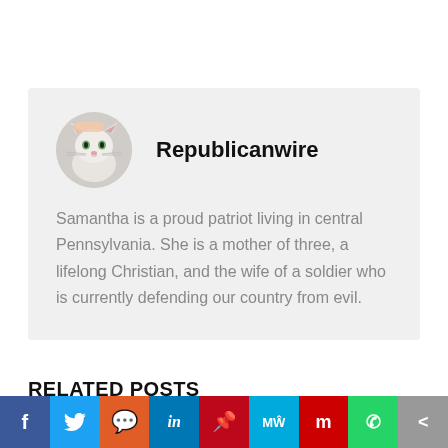[Figure (photo): Author avatar: circular photo of a white cat being petted]
Republicanwire
Samantha is a proud patriot living in central Pennsylvania. She is a mother of three, a lifelong Christian, and the wife of a soldier who is currently defending our country from evil.
RELATED POSTS
[Figure (infographic): Social sharing bar with icons: Facebook, Twitter, Reddit, LinkedIn, Pinterest, MeWe, Mix, WhatsApp, Share]